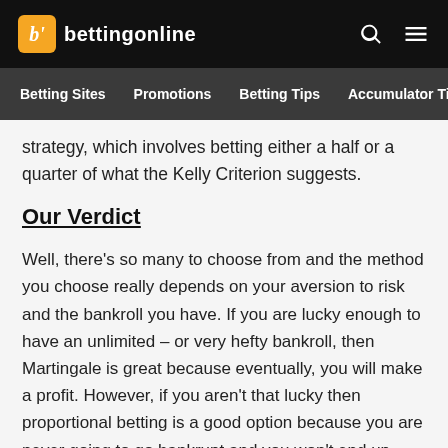bettingonline
Betting Sites  Promotions  Betting Tips  Accumulator Ti
strategy, which involves betting either a half or a quarter of what the Kelly Criterion suggests.
Our Verdict
Well, there's so many to choose from and the method you choose really depends on your aversion to risk and the bankroll you have. If you are lucky enough to have an unlimited – or very hefty bankroll, then Martingale is great because eventually, you will make a profit. However, if you aren't that lucky then proportional betting is a good option because you are never going to go bankrupt and you won't end up chasing losses either. It won't pay out